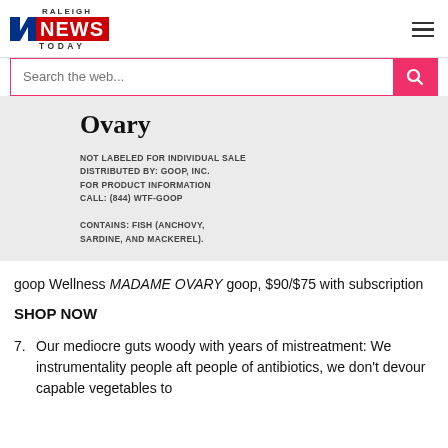Raleigh News Today
[Figure (photo): Product label for 'Ovary' supplement by goop. Label text reads: NOT LABELED FOR INDIVIDUAL SALE. DISTRIBUTED BY: GOOP, INC. FOR PRODUCT INFORMATION CALL: (844) WTF-GOOP. CONTAINS: FISH (ANCHOVY, SARDINE, AND MACKEREL).]
goop Wellness MADAME OVARY goop, $90/$75 with subscription
SHOP NOW
7. Our mediocre guts woody with years of mistreatment: We instrumentality people aft people of antibiotics, we don't devour capable vegetables to